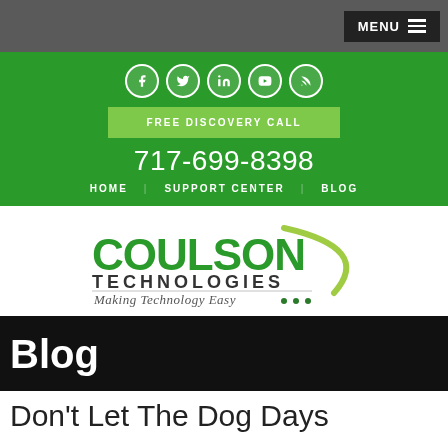MENU
[Figure (logo): Social media icons: Facebook, Twitter, LinkedIn, YouTube, RSS]
FREE DISCOVERY CALL
717-699-8398
HOME  SUPPORT CENTER  BLOG
[Figure (logo): Coulson Technologies logo - Making Technology Easy]
Blog
Don't Let The Dog Days